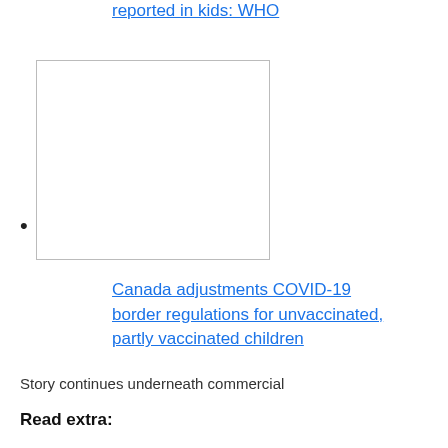reported in kids: WHO
[Figure (photo): Image placeholder related to article about Canada COVID-19 border regulations]
Canada adjustments COVID-19 border regulations for unvaccinated, partly vaccinated children
Story continues underneath commercial
Read extra: